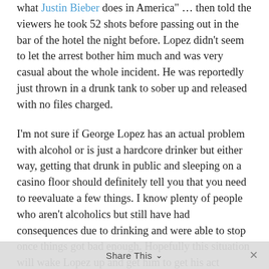what Justin Bieber does in America" … then told the viewers he took 52 shots before passing out in the bar of the hotel the night before. Lopez didn't seem to let the arrest bother him much and was very casual about the whole incident. He was reportedly just thrown in a drunk tank to sober up and released with no files charged.
I'm not sure if George Lopez has an actual problem with alcohol or is just a hardcore drinker but either way, getting that drunk in public and sleeping on a casino floor should definitely tell you that you need to reevaluate a few things. I know plenty of people who aren't alcoholics but still have had consequences due to drinking and were able to stop once things got bad enough. Hopefully this situation will wake Lopez up and get him to get his act together.
I know for me, it never mattered what my consequences were when I was drinking or getting high – I was still going to continue drinking and using. If you are the "real deal"